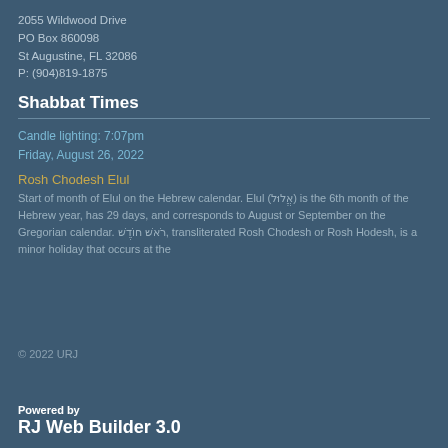2055 Wildwood Drive
PO Box 860098
St Augustine, FL 32086
P: (904)819-1875
Shabbat Times
Candle lighting: 7:07pm
Friday, August 26, 2022
Rosh Chodesh Elul
Start of month of Elul on the Hebrew calendar. Elul (אֱלול) is the 6th month of the Hebrew year, has 29 days, and corresponds to August or September on the Gregorian calendar. ראשׁ חוֹדשׁ, transliterated Rosh Chodesh or Rosh Hodesh, is a minor holiday that occurs at the
© 2022 URJ
Powered by
RJ Web Builder 3.0